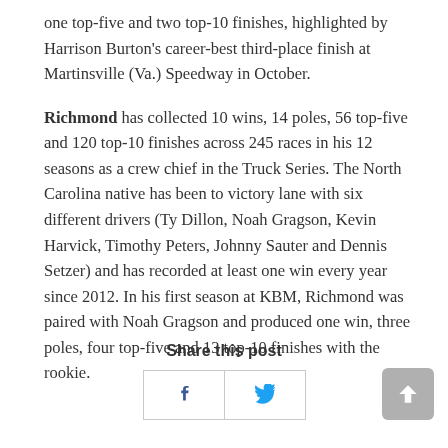one top-five and two top-10 finishes, highlighted by Harrison Burton's career-best third-place finish at Martinsville (Va.) Speedway in October.
Richmond has collected 10 wins, 14 poles, 56 top-five and 120 top-10 finishes across 245 races in his 12 seasons as a crew chief in the Truck Series. The North Carolina native has been to victory lane with six different drivers (Ty Dillon, Noah Gragson, Kevin Harvick, Timothy Peters, Johnny Sauter and Dennis Setzer) and has recorded at least one win every year since 2012. In his first season at KBM, Richmond was paired with Noah Gragson and produced one win, three poles, four top-five and 13 top-10 finishes with the rookie.
Share this post